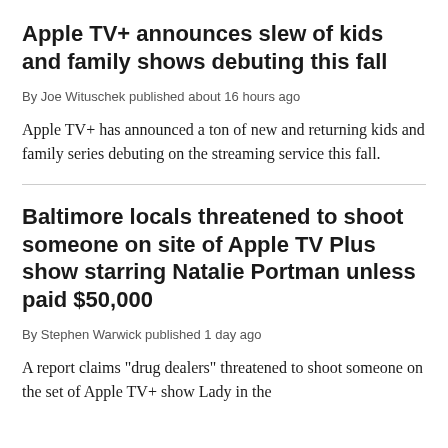Apple TV+ announces slew of kids and family shows debuting this fall
By Joe Wituschek published about 16 hours ago
Apple TV+ has announced a ton of new and returning kids and family series debuting on the streaming service this fall.
Baltimore locals threatened to shoot someone on site of Apple TV Plus show starring Natalie Portman unless paid $50,000
By Stephen Warwick published 1 day ago
A report claims "drug dealers" threatened to shoot someone on the set of Apple TV+ show Lady in the